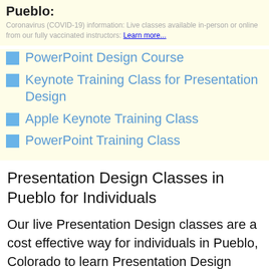Pueblo:
Coronavirus (COVID-19) information: Live classes available in-person or online from our fully vaccinated instructors: Learn more...
PowerPoint Design Course
Keynote Training Class for Presentation Design
Apple Keynote Training Class
PowerPoint Training Class
Presentation Design Classes in Pueblo for Individuals
Our live Presentation Design classes are a cost effective way for individuals in Pueblo, Colorado to learn Presentation Design while receiving individualized attention. In these classes you see the instructors screen, hear...